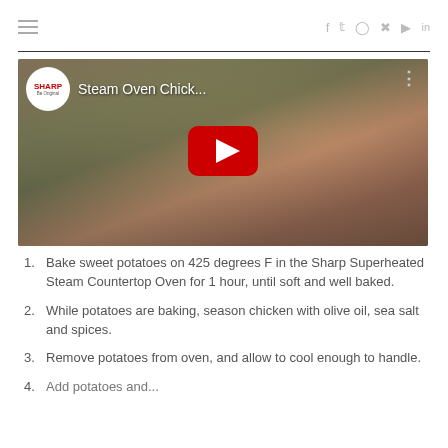≡  f  twitter  instagram  pinterest  youtube  in
[Figure (screenshot): YouTube video thumbnail for 'Steam Oven Chick...' by Sharp, showing a tray of chicken and vegetables with a red play button overlay.]
1. Bake sweet potatoes on 425 degrees F in the Sharp Superheated Steam Countertop Oven for 1 hour, until soft and well baked.
2. While potatoes are baking, season chicken with olive oil, sea salt and spices.
3. Remove potatoes from oven, and allow to cool enough to handle.
4. Add potatoes and...